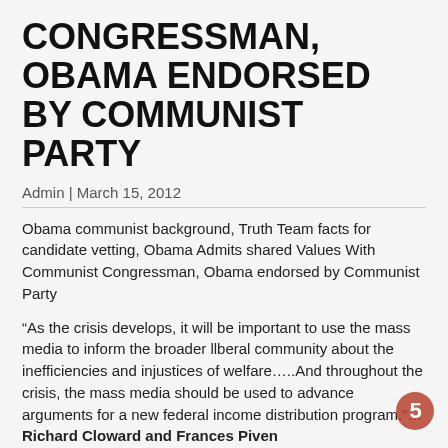CONGRESSMAN, OBAMA ENDORSED BY COMMUNIST PARTY
Admin | March 15, 2012
Obama communist background, Truth Team facts for candidate vetting, Obama Admits shared Values With Communist Congressman, Obama endorsed by Communist Party
“As the crisis develops, it will be important to use the mass media to inform the broader llberal community about the inefficiencies and injustices of welfare…..And throughout the crisis, the mass media should be used to advance arguments for a new federal income distribution program.”…Richard Cloward and Frances Piven
“But, the Supreme Court never ventured into the issues of redistribution of wealth, and of more basic issues such as political and economic justice in society. To that extent, as radical as I think people try to characterize the Warren Court, it wasn’t that radical. It